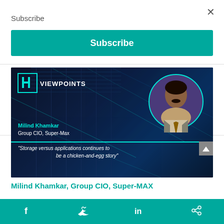Subscribe
Subscribe
[Figure (illustration): Viewpoints hero card with dark tech background, H logo, VIEWPOINTS text, circular portrait of Milind Khamkar, name, title Group CIO Super-Max, teal divider, and quote text about storage versus applications]
Milind Khamkar, Group CIO, Super-MAX
social share bar with Facebook, Twitter, LinkedIn, Share icons